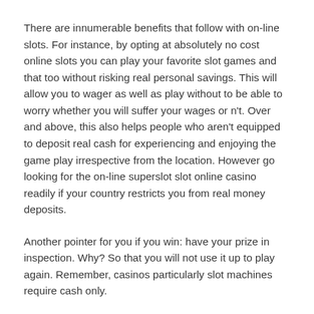There are innumerable benefits that follow with on-line slots. For instance, by opting at absolutely no cost online slots you can play your favorite slot games and that too without risking real personal savings. This will allow you to wager as well as play without to be able to worry whether you will suffer your wages or n't. Over and above, this also helps people who aren't equipped to deposit real cash for experiencing and enjoying the game play irrespective from the location. However go looking for the on-line superslot slot online casino readily if your country restricts you from real money deposits.
Another pointer for you if you win: have your prize in inspection. Why? So that you will not use it up to play again. Remember, casinos particularly slot machines require cash only.